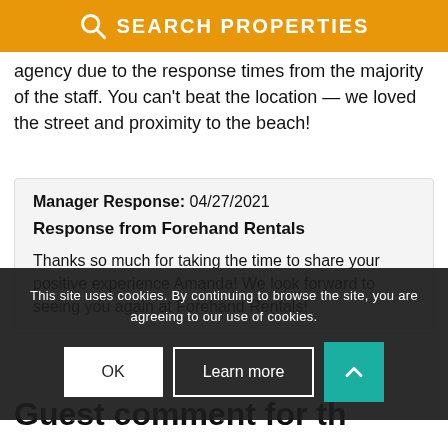SEARCH PROPERTIES
agency due to the response times from the majority of the staff. You can’t beat the location — we loved the street and proximity to the beach!
Manager Response: 04/27/2021

Response from Forehand Rentals

Thanks so much for taking the time to share your positive experience Amanda! We look forward to seeing you again at Forehand Rentals!
This site uses cookies. By continuing to browse the site, you are agreeing to our use of cookies.